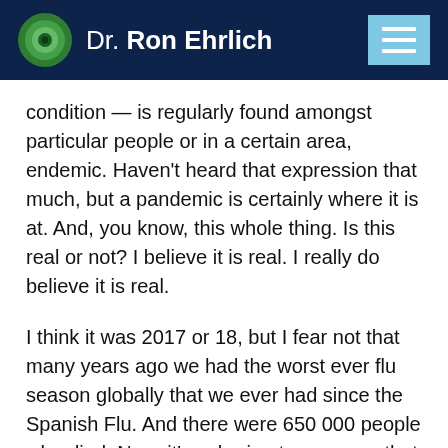Dr. Ron Ehrlich
condition — is regularly found amongst particular people or in a certain area, endemic. Haven't heard that expression that much, but a pandemic is certainly where it is at. And, you know, this whole thing. Is this real or not? I believe it is real. I really do believe it is real.
I think it was 2017 or 18, but I fear not that many years ago we had the worst ever flu season globally that we ever had since the Spanish Flu. And there were 650 000 people who died. Now, it's sobering to compare that to the four million plus that